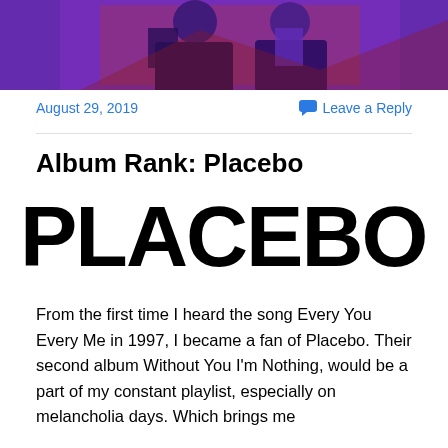[Figure (illustration): Banner image with purple and red background showing two figures or band members in dark clothing with purple tones, stylized artwork]
August 29, 2019
Leave a Reply
Album Rank: Placebo
[Figure (illustration): Large bold text reading PLACEBO in very large black bold font]
From the first time I heard the song Every You Every Me in 1997, I became a fan of Placebo. Their second album Without You I'm Nothing, would be a part of my constant playlist, especially on melancholia days. Which brings me